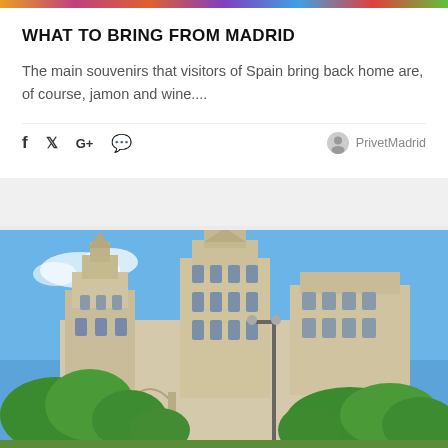[Figure (photo): Colorful decorative banner strip at top of page]
WHAT TO BRING FROM MADRID
The main souvenirs that visitors of Spain bring back home are, of course, jamon and wine....
Social sharing icons: f (Facebook), Twitter bird, G+, comment bubble. Author: PrivetMadrid
[Figure (photo): Photograph of an ornate historic building (Palacio de Cibeles / Madrid City Hall) with Gothic-Baroque architecture against a blue sky, with green trees in the foreground]